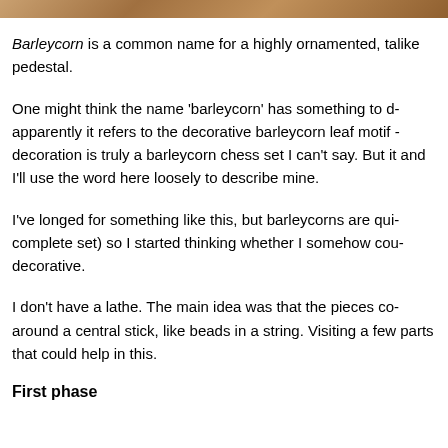[Figure (photo): Partial view of a chess piece or wooden object with warm brown tones, cropped at top of page]
Barleycorn is a common name for a highly ornamented, ta... like pedestal.
One might think the name 'barleycorn' has something to d... apparently it refers to the decorative barleycorn leaf motif ... decoration is truly a barleycorn chess set I can't say. But it... and I'll use the word here loosely to describe mine.
I've longed for something like this, but barleycorns are qui... complete set) so I started thinking whether I somehow cou... decorative.
I don't have a lathe. The main idea was that the pieces co... around a central stick, like beads in a string. Visiting a few... parts that could help in this.
First phase